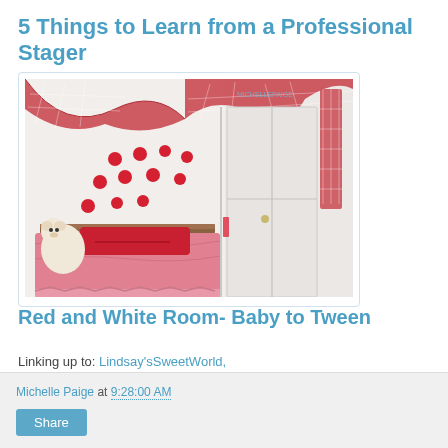5 Things to Learn from a Professional Stager
[Figure (photo): A child's bedroom decorated in red and white theme, with red gingham fabric draped from the ceiling, red flower wall decals, a white bed with red bedding, a stuffed bear, and white closet doors.]
Red and White Room- Baby to Tween
Linking up to: Lindsay'sSweetWorld,
Michelle Paige at 9:28:00 AM  Share